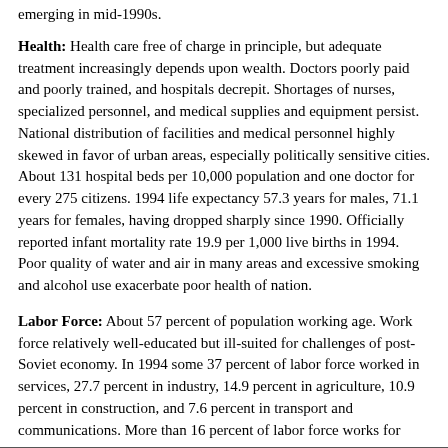emerging in mid-1990s.
Health: Health care free of charge in principle, but adequate treatment increasingly depends upon wealth. Doctors poorly paid and poorly trained, and hospitals decrepit. Shortages of nurses, specialized personnel, and medical supplies and equipment persist. National distribution of facilities and medical personnel highly skewed in favor of urban areas, especially politically sensitive cities. About 131 hospital beds per 10,000 population and one doctor for every 275 citizens. 1994 life expectancy 57.3 years for males, 71.1 years for females, having dropped sharply since 1990. Officially reported infant mortality rate 19.9 per 1,000 live births in 1994. Poor quality of water and air in many areas and excessive smoking and alcohol use exacerbate poor health of nation.
Labor Force: About 57 percent of population working age. Work force relatively well-educated but ill-suited for challenges of post-Soviet economy. In 1994 some 37 percent of labor force worked in services, 27.7 percent in industry, 14.9 percent in agriculture, 10.9 percent in construction, and 7.6 percent in transport and communications. More than 16 percent of labor force works for government.
Data as of July 1996